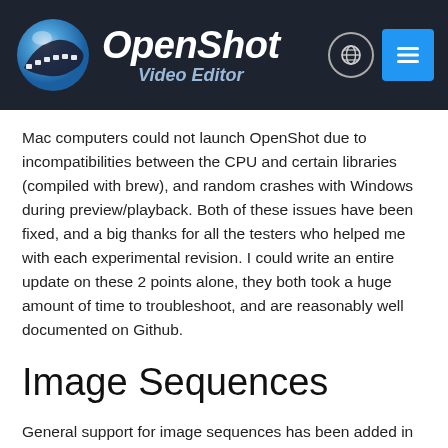[Figure (logo): OpenShot Video Editor logo with blue sphere icon and white italic text on dark navy background, with globe icon and hamburger menu button in the top right]
Mac computers could not launch OpenShot due to incompatibilities between the CPU and certain libraries (compiled with brew), and random crashes with Windows during preview/playback. Both of these issues have been fixed, and a big thanks for all the testers who helped me with each experimental revision. I could write an entire update on these 2 points alone, they both took a huge amount of time to troubleshoot, and are reasonably well documented on Github.
Image Sequences
General support for image sequences has been added in Beta 4. Just drop a single file from a sequence (i.e. 001.jpg, 002.jpg, 003.jpg,